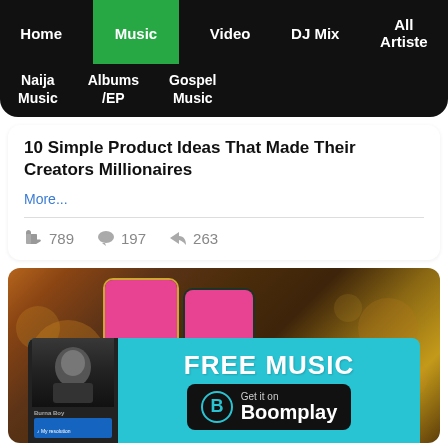Home | Music | Video | DJ Mix | All Artiste | Naija Music | Albums /EP | Gospel Music
10 Simple Product Ideas That Made Their Creators Millionaires
More...
789  197  263
[Figure (screenshot): Two smartphones held showing a music app with pink/magenta screens and album art. Below is a Boomplay advertisement banner with cyan background showing 'FREE MUSIC - Get it on Boomplay' with an artist photo (Burna Boy) on the left.]